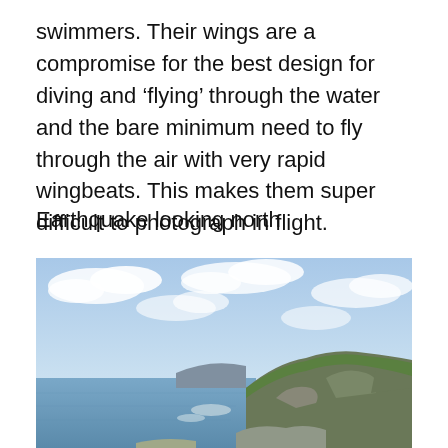swimmers. Their wings are a compromise for the best design for diving and ‘flying’ through the water and the bare minimum need to fly through the air with very rapid wingbeats. This makes them super difficult to photograph in flight.
Earthquake looking north
[Figure (photo): Coastal landscape photograph looking north, showing rugged cliffs on the right with green grass, a blue-grey sea on the left, and a partly cloudy sky above.]